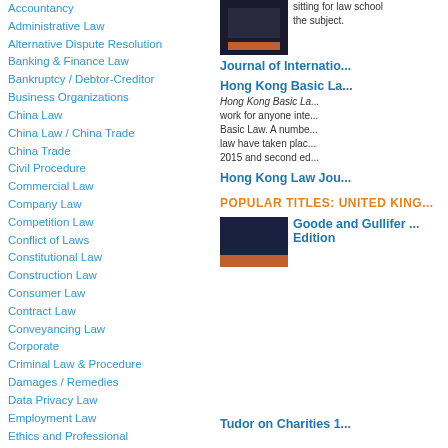Accountancy
Administrative Law
Alternative Dispute Resolution
Banking & Finance Law
Bankruptcy / Debtor-Creditor
Business Organizations
China Law
China Law / China Trade
China Trade
Civil Procedure
Commercial Law
Company Law
Competition Law
Conflict of Laws
Constitutional Law
Construction Law
Consumer Law
Contract Law
Conveyancing Law
Corporate
Criminal Law & Procedure
Damages / Remedies
Data Privacy Law
Employment Law
Ethics and Professional
sitting for law school... the subject.
Journal of Internatio...
Hong Kong Basic La...
Hong Kong Basic La... work for anyone inte... Basic Law. A numbe... law have taken plac... 2015 and second ed...
Hong Kong Law Jou...
POPULAR TITLES: UNITED KING...
[Figure (photo): Book cover image - dark background]
Goode and Gullifer ... Edition
[Figure (photo): Book cover image - dark navy with orange stripe]
Tudor on Charities 1...